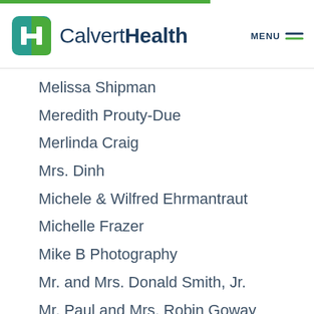[Figure (logo): CalvertHealth logo with green and teal H icon and navy text]
Melissa Shipman
Meredith Prouty-Due
Merlinda Craig
Mrs. Dinh
Michele & Wilfred Ehrmantraut
Michelle Frazer
Mike B Photography
Mr. and Mrs. Donald Smith, Jr.
Mr. Paul and Mrs. Robin Goway
Mrs. Karen O'Brien
NewLife Church
Nina Hosmer